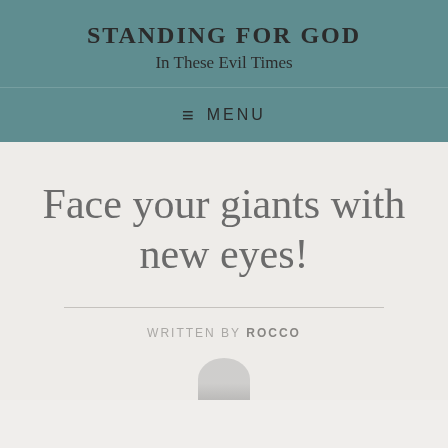STANDING FOR GOD
In These Evil Times
≡ MENU
Face your giants with new eyes!
WRITTEN BY ROCCO